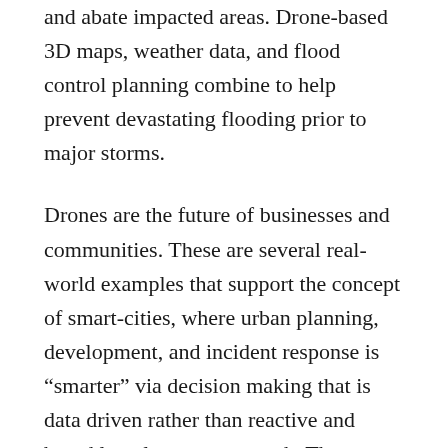and abate impacted areas. Drone-based 3D maps, weather data, and flood control planning combine to help prevent devastating flooding prior to major storms.
Drones are the future of businesses and communities. These are several real-world examples that support the concept of smart-cities, where urban planning, development, and incident response is “smarter” via decision making that is data driven rather than reactive and based largely on guess-work. The practical capabilities drone technology offers will only increase over time. The future of drone existence will only get brighter and more prevalent. Keep watching for the many ways your communities and businesses incorporate this technology to improve your